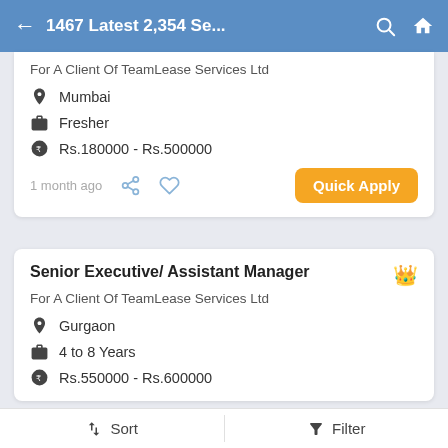1467 Latest 2,354 Se...
For A Client Of TeamLease Services Ltd
Mumbai
Fresher
Rs.180000 - Rs.500000
1 month ago
Senior Executive/ Assistant Manager
For A Client Of TeamLease Services Ltd
Gurgaon
4 to 8 Years
Rs.550000 - Rs.600000
Sort   Filter